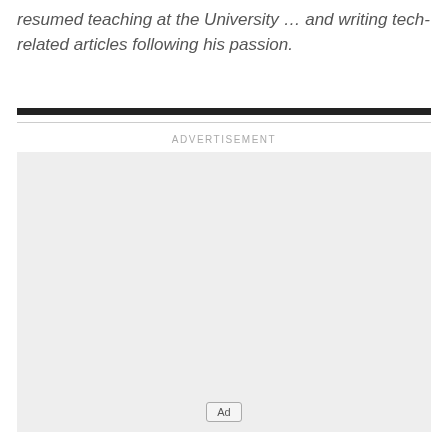resumed teaching at the University … and writing tech-related articles following his passion.
ADVERTISEMENT
[Figure (other): Empty advertisement placeholder box with light gray background and an 'Ad' button at the bottom center]